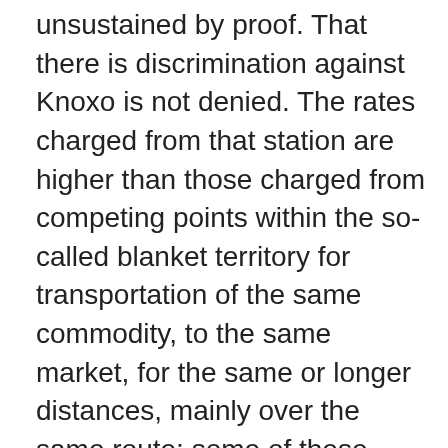unsustained by proof. That there is discrimination against Knoxo is not denied. The rates charged from that station are higher than those charged from competing points within the so-called blanket territory for transportation of the same commodity, to the same market, for the same or longer distances, mainly over the same route; some of these competing points being located on the Illinois Central main line, some on its branch lines, and some on independent lines. But mere discrimination does not render a rate illegal under section 3. Only such rates as involve unjust discrimination are obnoxious to that section. Manufacturers' Ry. Co. v. United States, 246 U.S. 457, 481 , 38 S. Sup. Ct. 383. There is no claim that any one of the evidential facts found by the Commission, and relied upon to show [263 U.S. 515, 522]  that the discrimination was unjust, is without adequate supporting evidence. The argument is that these facts, even when supplemented by others appearing in the evidence, do not warrant the finding of the ultimate fact, that